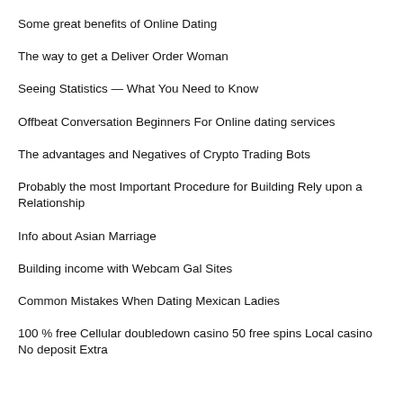Some great benefits of Online Dating
The way to get a Deliver Order Woman
Seeing Statistics — What You Need to Know
Offbeat Conversation Beginners For Online dating services
The advantages and Negatives of Crypto Trading Bots
Probably the most Important Procedure for Building Rely upon a Relationship
Info about Asian Marriage
Building income with Webcam Gal Sites
Common Mistakes When Dating Mexican Ladies
100 % free Cellular doubledown casino 50 free spins Local casino No deposit Extra